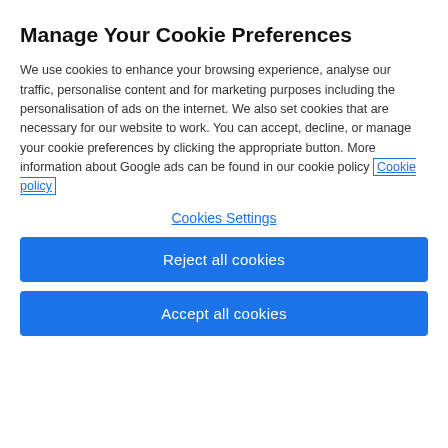[Figure (screenshot): Rating badge showing 4.8 star Excellent rating with green border]
Sykes rating [four red circle icons]
Manage Your Cookie Preferences
We use cookies to enhance your browsing experience, analyse our traffic, personalise content and for marketing purposes including the personalisation of ads on the internet. We also set cookies that are necessary for our website to work. You can accept, decline, or manage your cookie preferences by clicking the appropriate button. More information about Google ads can be found in our cookie policy Cookie policy
Cookies Settings
Reject all cookies
Accept all cookies